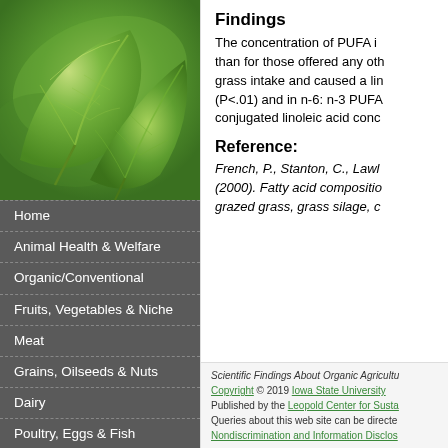[Figure (photo): Close-up photograph of green leaves with visible veins on a blurred green background]
Home
Animal Health & Welfare
Organic/Conventional
Fruits, Vegetables & Niche
Meat
Grains, Oilseeds & Nuts
Dairy
Poultry, Eggs & Fish
Consumer Perspectives
Findings
The concentration of PUFA in than for those offered any oth grass intake and caused a lin (P<.01) and in n-6: n-3 PUFA conjugated linoleic acid conc
Reference:
French, P., Stanton, C., Lawl (2000). Fatty acid compositio grazed grass, grass silage, c
Scientific Findings About Organic Agricultu Copyright © 2019 Iowa State University Published by the Leopold Center for Susta Queries about this web site can be directe Nondiscrimination and Information Disclos